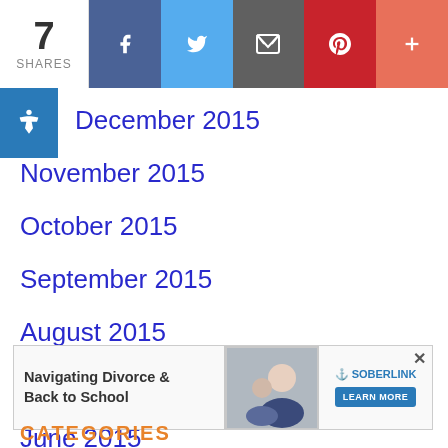7 SHARES [Facebook] [Twitter] [Email] [Pinterest] [More]
December 2015
November 2015
October 2015
September 2015
August 2015
July 2015
June 2015
May 2015
April 2015
March 2015
[Figure (infographic): Advertisement: Navigating Divorce & Back to School - SOBERLINK LEARN MORE]
CATEGORIES